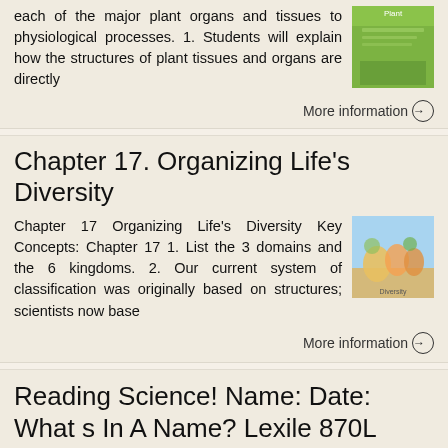each of the major plant organs and tissues to physiological processes. 1. Students will explain how the structures of plant tissues and organs are directly
More information →
Chapter 17. Organizing Life's Diversity
Chapter 17 Organizing Life's Diversity Key Concepts: Chapter 17 1. List the 3 domains and the 6 kingdoms. 2. Our current system of classification was originally based on structures; scientists now base
More information →
Reading Science! Name: Date: What s In A Name? Lexile 870L
6.12: lassification of Organisms Name: ate: 1 2 3 What s In Name? Lexile 870L